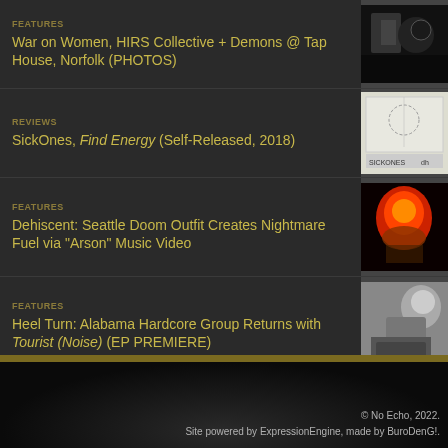FEATURES
War on Women, HIRS Collective + Demons @ Tap House, Norfolk (PHOTOS)
REVIEWS
SickOnes, Find Energy (Self-Released, 2018)
FEATURES
Dehiscent: Seattle Doom Outfit Creates Nightmare Fuel via "Arson" Music Video
FEATURES
Heel Turn: Alabama Hardcore Group Returns with Tourist (Noise) (EP PREMIERE)
REVIEWS
Hot Shot, Demo 2016 (Self-Released, 2016)
© No Echo, 2022.
Site powered by ExpressionEngine, made by BuroDenG!.